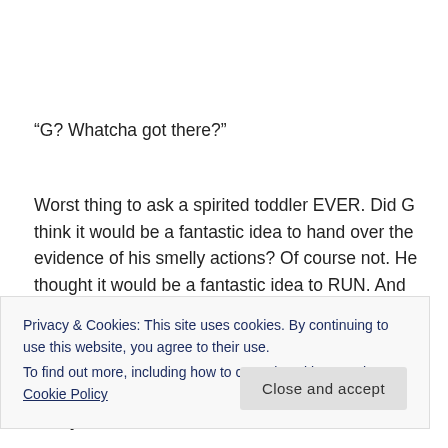“G? Whatcha got there?”
Worst thing to ask a spirited toddler EVER. Did G think it would be a fantastic idea to hand over the evidence of his smelly actions? Of course not. He thought it would be a fantastic idea to RUN. And what I thought HAD to be an empty spray bottle
Privacy & Cookies: This site uses cookies. By continuing to use this website, you agree to their use.
To find out more, including how to control cookies, see here: Cookie Policy
as I yell for him to STOP!